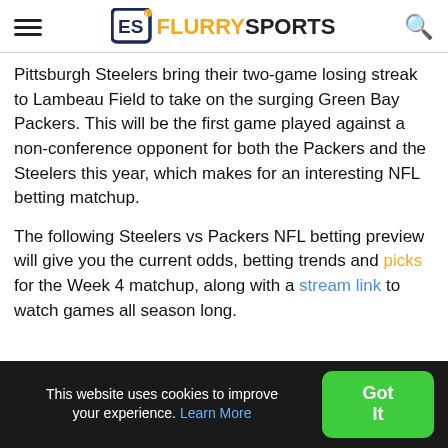Flurry Sports
Pittsburgh Steelers bring their two-game losing streak to Lambeau Field to take on the surging Green Bay Packers. This will be the first game played against a non-conference opponent for both the Packers and the Steelers this year, which makes for an interesting NFL betting matchup.
The following Steelers vs Packers NFL betting preview will give you the current odds, betting trends and picks for the Week 4 matchup, along with a stream link to watch games all season long.
This website uses cookies to improve your experience. Learn More  Got It